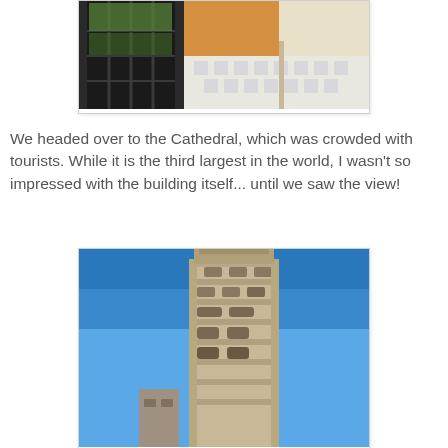[Figure (photo): Interior room photo showing a tiled floor with blue decorative pattern, a large window with iron grille, and an orange/yellow wall]
We headed over to the Cathedral, which was crowded with tourists.  While it is the third largest in the world, I wasn't so impressed with the building itself... until we saw the view!
[Figure (photo): Upward-angled view of a tall cathedral tower (Giralda) against a bright blue sky, showing ornate Moorish-Gothic architecture with detailed stonework]